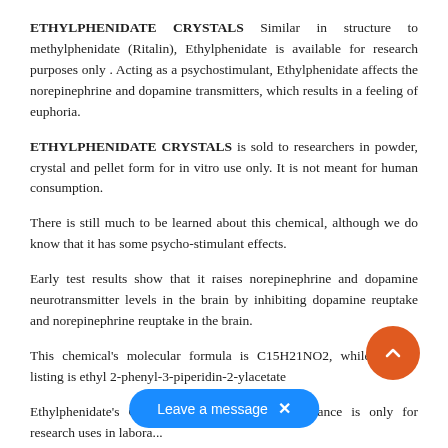ETHYLPHENIDATE CRYSTALS Similar in structure to methylphenidate (Ritalin), Ethylphenidate is available for research purposes only . Acting as a psychostimulant, Ethylphenidate affects the norepinephrine and dopamine transmitters, which results in a feeling of euphoria.
ETHYLPHENIDATE CRYSTALS is sold to researchers in powder, crystal and pellet form for in vitro use only. It is not meant for human consumption.
There is still much to be learned about this chemical, although we do know that it has some psycho-stimulant effects.
Early test results show that it raises norepinephrine and dopamine neurotransmitter levels in the brain by inhibiting dopamine reuptake and norepinephrine reuptake in the brain.
This chemical's molecular formula is C15H21NO2, while IUPAC listing is ethyl 2-phenyl-3-piperidin-2-ylacetate
Ethylphenidate's CAS is 57413-43-1. This substance is only for research uses in labora... We sell the finest Ethylphenidate on the market...